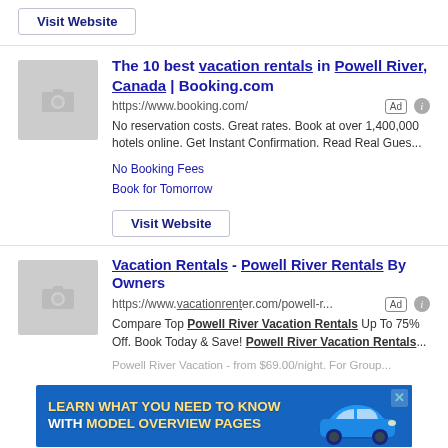[Figure (screenshot): Visit Website button for previous listing]
[Figure (screenshot): Search result listing: The 10 best vacation rentals in Powell River, Canada | Booking.com with thumbnail, URL, ad badge, description, sub-links, and Visit Website button]
[Figure (screenshot): Search result listing: Vacation Rentals - Powell River Rentals By Owners with thumbnail, URL, ad badge, and description]
[Figure (screenshot): Bottom banner ad: Learn what you need to know with model overview pages, with a car image]
Homes Vacation Rentals - 1-5 Bedroom - Options